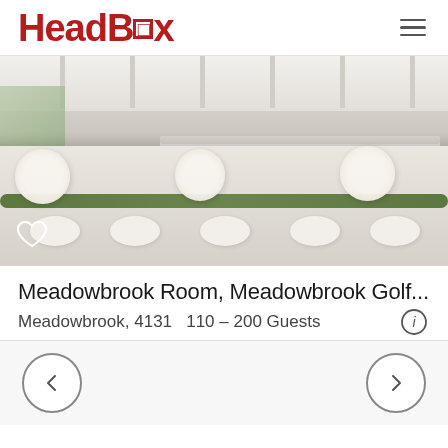HeadBox
[Figure (photo): Wedding venue setup: Meadowbrook Room with long tables draped in white linens, white floral centerpieces, greenery runners, and white chairs in a bright event space.]
Meadowbrook Room, Meadowbrook Golf...
Meadowbrook, 4131   110 – 200 Guests
Navigation arrows: back and forward